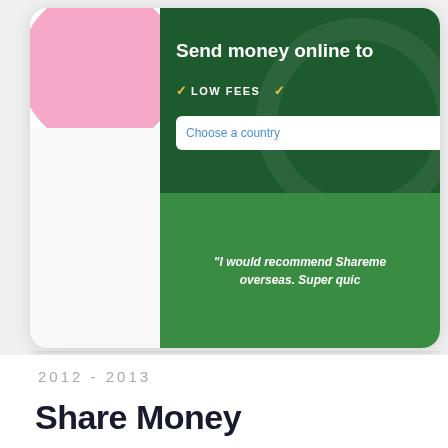[Figure (screenshot): Screenshot of a website showing a money transfer service called Shareme. The top half shows a dark green background with white text 'Send money online to' and a gold checkmark followed by 'LOW FEES' and another checkmark. There is a 'Choose a country' input/dropdown in a white box. The bottom half shows a lighter green section with white italic text 'I would recommend Shareme... overseas. Super quic...' A phone/tablet frame is visible with a pink shape on the left side.]
2012  -  2013
Share Money